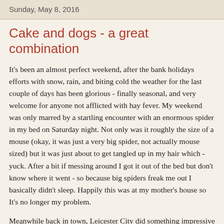Sunday, May 8, 2016
Cake and dogs - a great combination
It's been an almost perfect weekend, after the bank holidays efforts with snow, rain, and biting cold the weather for the last couple of days has been glorious - finally seasonal, and very welcome for anyone not afflicted with hay fever. My weekend was only marred by a startling encounter with an enormous spider in my bed on Saturday night. Not only was it roughly the size of a mouse (okay, it was just a very big spider, not actually mouse sized) but it was just about to get tangled up in my hair which - yuck. After a bit if messing around I got it out of the bed but don't know where it went - so because big spiders freak me out I basically didn't sleep. Happily this was at my mother's house so It's no longer my problem.
Meanwhile back in town, Leicester City did something impressive football wise. I live close enough to the stadium to decide that I'd hear the cheers and groans for the night and admit it...